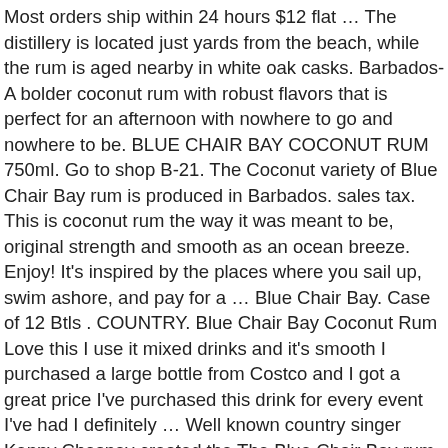Most orders ship within 24 hours $12 flat … The distillery is located just yards from the beach, while the rum is aged nearby in white oak casks. Barbados- A bolder coconut rum with robust flavors that is perfect for an afternoon with nowhere to go and nowhere to be. BLUE CHAIR BAY COCONUT RUM 750ml. Go to shop B-21. The Coconut variety of Blue Chair Bay rum is produced in Barbados. sales tax. This is coconut rum the way it was meant to be, original strength and smooth as an ocean breeze. Enjoy! It's inspired by the places where you sail up, swim ashore, and pay for a … Blue Chair Bay. Case of 12 Btls . COUNTRY. Blue Chair Bay Coconut Rum Love this I use it mixed drinks and it's smooth I purchased a large bottle from Costco and I got a great price I've purchased this drink for every event I've had I definitely … Well known country singer Kenny Chesney created the The Blue Chair Bay rum brand, which is named after his ballad "Old Blue Chair." ex. Barbados. BRAND. Rum. Blue Chair Bay Coconut Rum, Brighton, Saint Michael, Barbados $ 95.94 $ 21.32 / 1000ml. This genuine, beach made rum is perfect on its own or in a